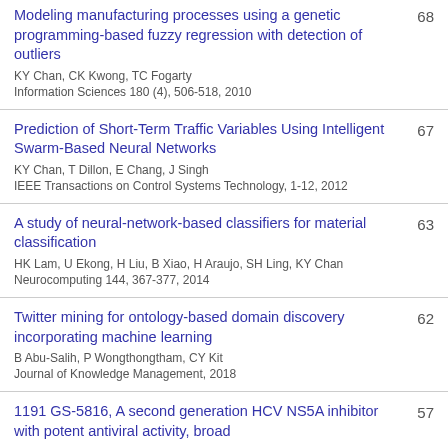Modeling manufacturing processes using a genetic programming-based fuzzy regression with detection of outliers
KY Chan, CK Kwong, TC Fogarty
Information Sciences 180 (4), 506-518, 2010
68
Prediction of Short-Term Traffic Variables Using Intelligent Swarm-Based Neural Networks
KY Chan, T Dillon, E Chang, J Singh
IEEE Transactions on Control Systems Technology, 1-12, 2012
67
A study of neural-network-based classifiers for material classification
HK Lam, U Ekong, H Liu, B Xiao, H Araujo, SH Ling, KY Chan
Neurocomputing 144, 367-377, 2014
63
Twitter mining for ontology-based domain discovery incorporating machine learning
B Abu-Salih, P Wongthongtham, CY Kit
Journal of Knowledge Management, 2018
62
1191 GS-5816, A second generation HCV NS5A inhibitor with potent antiviral activity, broad
57